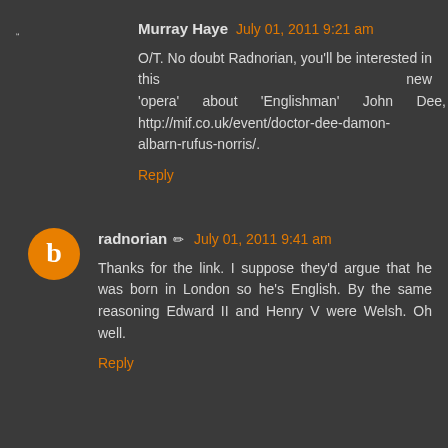Murray Haye   July 01, 2011 9:21 am
O/T. No doubt Radnorian, you'll be interested in this new 'opera' about 'Englishman' John Dee, http://mif.co.uk/event/doctor-dee-damon-albarn-rufus-norris/.
Reply
radnorian   July 01, 2011 9:41 am
Thanks for the link. I suppose they'd argue that he was born in London so he's English. By the same reasoning Edward II and Henry V were Welsh. Oh well.
Reply